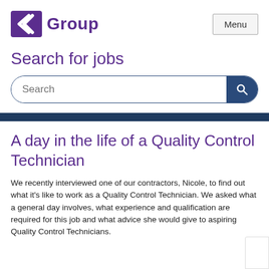[Figure (logo): CK Group logo with purple double-chevron icon and 'Group' text in purple]
Search for jobs
Search
A day in the life of a Quality Control Technician
We recently interviewed one of our contractors, Nicole, to find out what it's like to work as a Quality Control Technician. We asked what a general day involves, what experience and qualification are required for this job and what advice she would give to aspiring Quality Control Technicians.